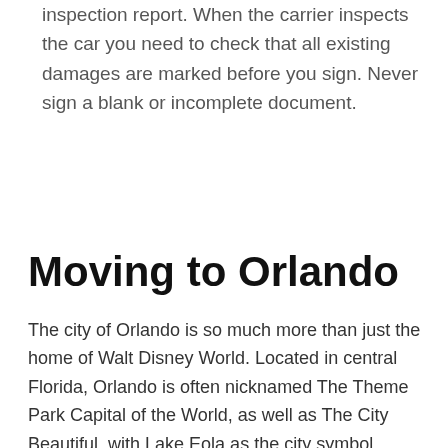inspection report. When the carrier inspects the car you need to check that all existing damages are marked before you sign. Never sign a blank or incomplete document.
Moving to Orlando
The city of Orlando is so much more than just the home of Walt Disney World. Located in central Florida, Orlando is often nicknamed The Theme Park Capital of the World, as well as The City Beautiful, with Lake Eola as the city symbol